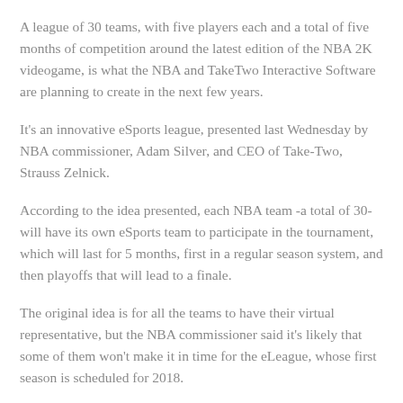A league of 30 teams, with five players each and a total of five months of competition around the latest edition of the NBA 2K videogame, is what the NBA and TakeTwo Interactive Software are planning to create in the next few years.
It's an innovative eSports league, presented last Wednesday by NBA commissioner, Adam Silver, and CEO of Take-Two, Strauss Zelnick.
According to the idea presented, each NBA team -a total of 30- will have its own eSports team to participate in the tournament, which will last for 5 months, first in a regular season system, and then playoffs that will lead to a finale.
The original idea is for all the teams to have their virtual representative, but the NBA commissioner said it's likely that some of them won't make it in time for the eLeague, whose first season is scheduled for 2018.
The NBA teams must do a draft for the eSports who'll be part…